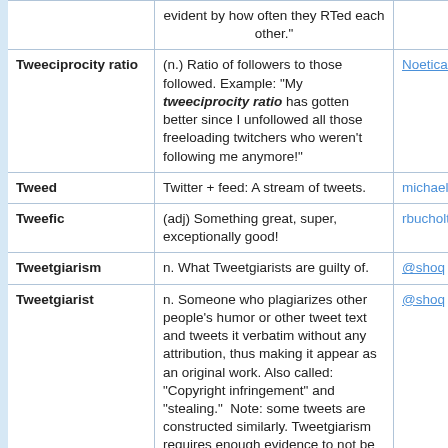| Term | Definition | Source |
| --- | --- | --- |
|  | evident by how often they RTed each other." |  |
| Tweeciprocity ratio | (n.) Ratio of followers to those followed. Example: "My tweeciprocity ratio has gotten better since I unfollowed all those freeloading twitchers who weren't following me anymore!" | Noetical |
| Tweed | Twitter + feed: A stream of tweets. | michaelower |
| Tweefic | (adj) Something great, super, exceptionally good! | rbucholtz |
| Tweetgiarism | n. What Tweetgiarists are guilty of. | @shoq |
| Tweetgiarist | n. Someone who plagiarizes other people's humor or other tweet text and tweets it verbatim without any attribution, thus making it appear as an original work. Also called: "Copyright infringement" and "stealing."  Note: some tweets are constructed similarly. Tweetgiarism requires enough evidence to not be coincidence. | @shoq |